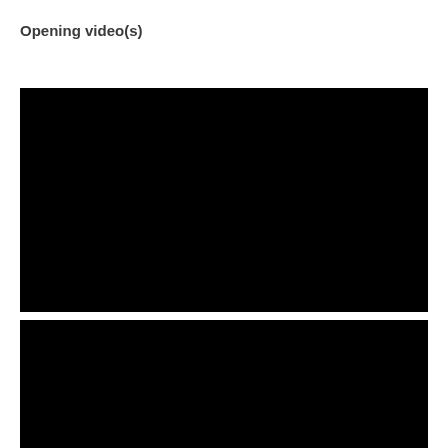Opening video(s)
[Figure (other): Black video player rectangle, first video]
[Figure (other): Black video player rectangle, second video]